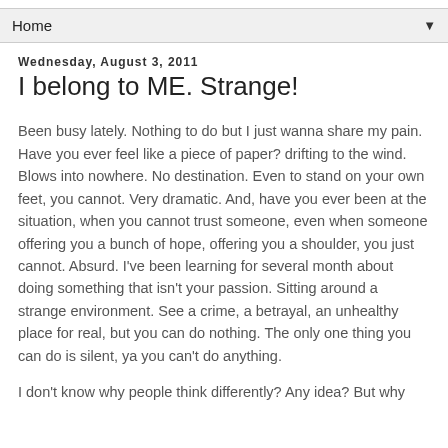Home ▼
Wednesday, August 3, 2011
I belong to ME. Strange!
Been busy lately. Nothing to do but I just wanna share my pain. Have you ever feel like a piece of paper? drifting to the wind. Blows into nowhere. No destination. Even to stand on your own feet, you cannot. Very dramatic. And, have you ever been at the situation, when you cannot trust someone, even when someone offering you a bunch of hope, offering you a shoulder, you just cannot. Absurd. I've been learning for several month about doing something that isn't your passion. Sitting around a strange environment. See a crime, a betrayal, an unhealthy place for real, but you can do nothing. The only one thing you can do is silent, ya you can't do anything.
I don't know why people think differently? Any idea? But why do they think like differently? and how do they do that?